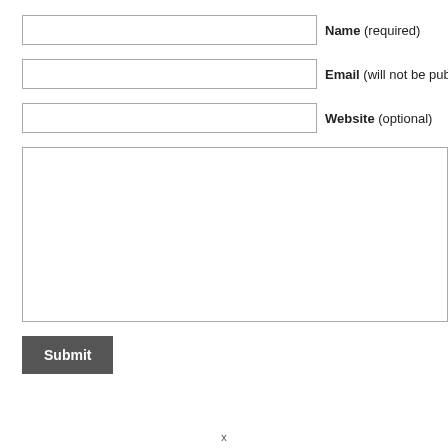Name (required)
Email (will not be published) (required)
Website (optional)
Submit
x